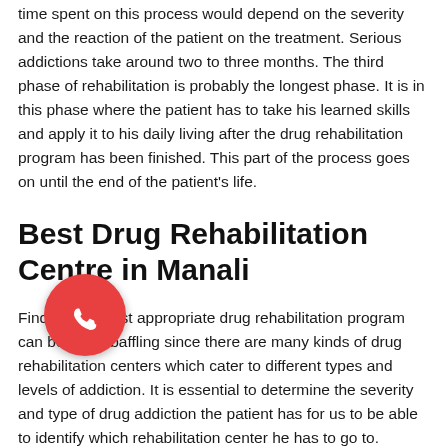time spent on this process would depend on the severity and the reaction of the patient on the treatment. Serious addictions take around two to three months. The third phase of rehabilitation is probably the longest phase. It is in this phase where the patient has to take his learned skills and apply it to his daily living after the drug rehabilitation program has been finished. This part of the process goes on until the end of the patient's life.
Best Drug Rehabilitation Centre in Manali
Finding the most appropriate drug rehabilitation program can be really baffling since there are many kinds of drug rehabilitation centers which cater to different types and levels of addiction. It is essential to determine the severity and type of drug addiction the patient has for us to be able to identify which rehabilitation center he has to go to. Nowadays, drug addicts not only include adults and the elderly but also teenagers. It is really disturbing to note the
[Figure (illustration): Red circular WhatsApp-style phone/call button floating on lower left]